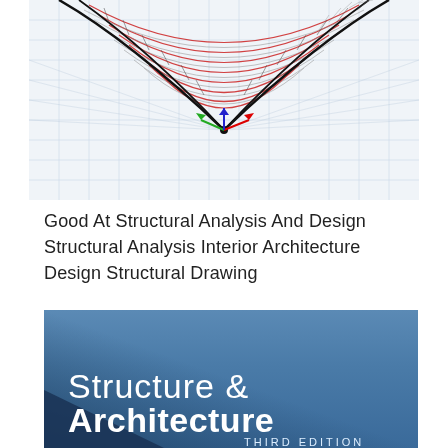[Figure (screenshot): 3D structural analysis software screenshot showing a curved mesh/cable structure with colored force distribution lines on a grid background, with XYZ axis indicator visible]
Good At Structural Analysis And Design Structural Analysis Interior Architecture Design Structural Drawing
[Figure (photo): Book cover for 'Structure & Architecture Third Edition' with blue gradient background and white text]